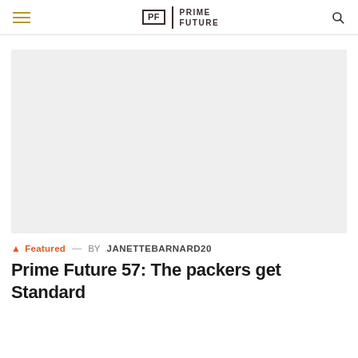PF | PRIME FUTURE
[Figure (photo): Large light gray placeholder image for article hero]
🔔 Featured — BY JANETTEBARNARD20
Prime Future 57: The packers get Standard